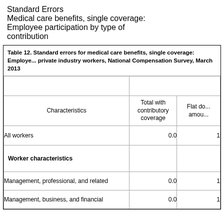Standard Errors
Medical care benefits, single coverage: Employee participation by type of contribution
| Characteristics | Total with contributory coverage | Flat do... amou... |
| --- | --- | --- |
| All workers | 0.0 | 1 |
| Worker characteristics |  |  |
| Management, professional, and related | 0.0 | 1 |
| Management, business, and financial | 0.0 | 1 |